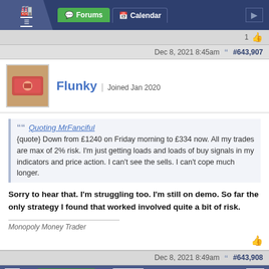Forums | Calendar
1
Dec 8, 2021 8:45am | #643,907
Flunky | Joined Jan 2020
Quoting MrFanciful — {quote} Down from £1240 on Friday morning to £334 now. All my trades are max of 2% risk. I'm just getting loads and loads of buy signals in my indicators and price action. I can't see the sells. I can't cope much longer.
Sorry to hear that. I'm struggling too. I'm still on demo. So far the only strategy I found that worked involved quite a bit of risk.
Monopoly Money Trader
Dec 8, 2021 8:49am | #643,908
1 | ← | Page 32196 | → | 33964
[Figure (other): OANDA advertisement: SWITCH TO A BROKER WITH INTEGRITY | OANDA TRADE NOW]